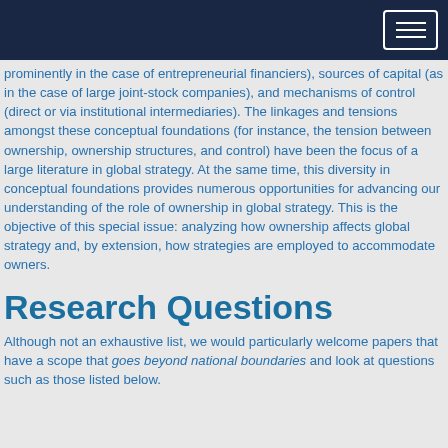prominently in the case of entrepreneurial financiers), sources of capital (as in the case of large joint-stock companies), and mechanisms of control (direct or via institutional intermediaries). The linkages and tensions amongst these conceptual foundations (for instance, the tension between ownership, ownership structures, and control) have been the focus of a large literature in global strategy. At the same time, this diversity in conceptual foundations provides numerous opportunities for advancing our understanding of the role of ownership in global strategy. This is the objective of this special issue: analyzing how ownership affects global strategy and, by extension, how strategies are employed to accommodate owners.
Research Questions
Although not an exhaustive list, we would particularly welcome papers that have a scope that goes beyond national boundaries and look at questions such as those listed below.